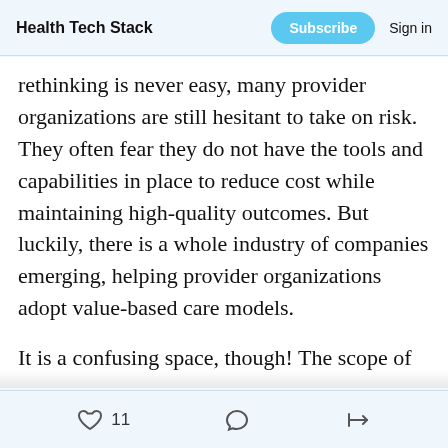Health Tech Stack | Subscribe | Sign in
rethinking is never easy, many provider organizations are still hesitant to take on risk. They often fear they do not have the tools and capabilities in place to reduce cost while maintaining high-quality outcomes. But luckily, there is a whole industry of companies emerging, helping provider organizations adopt value-based care models.
It is a confusing space, though! The scope of vendors are not clear cut, and their websites are full of marketing promises - technology
11 likes · comments · share